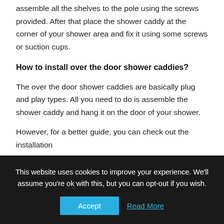assemble all the shelves to the pole using the screws provided. After that place the shower caddy at the corner of your shower area and fix it using some screws or suction cups.
How to install over the door shower caddies?
The over the door shower caddies are basically plug and play types. All you need to do is assemble the shower caddy and hang it on the door of your shower.
However, for a better guide, you can check out the installation
This website uses cookies to improve your experience. We'll assume you're ok with this, but you can opt-out if you wish.